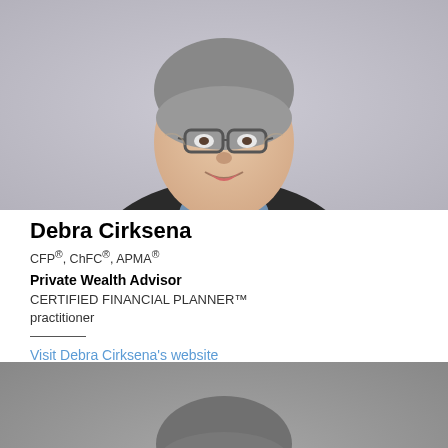[Figure (photo): Professional headshot of Debra Cirksena, a woman with short gray hair and glasses, wearing a dark blazer over a blue collared shirt, smiling against a gray-purple background.]
Debra Cirksena
CFP®, ChFC®, APMA®
Private Wealth Advisor
CERTIFIED FINANCIAL PLANNER™ practitioner
Visit Debra Cirksena's website
[Figure (photo): Professional headshot of a man with close-cropped salt-and-pepper hair, smiling, wearing a dark suit with a white shirt, against a gray background.]